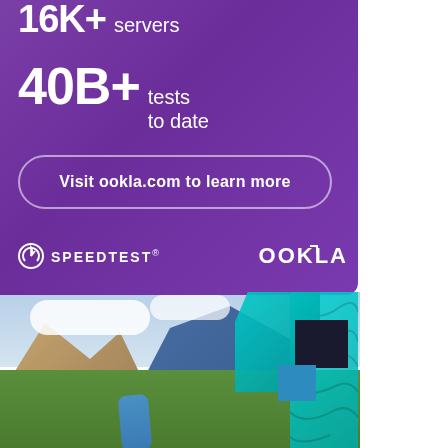16K+ servers
40B+ tests to date
Visit ookla.com to learn more
SPEEDTEST® OOKLA
[Figure (photo): Aerial photograph of a mountain valley town with a river, green trees, brown hills, and blue mountains in the background. Geometric teal and dark overlay shapes in the top-right corner.]